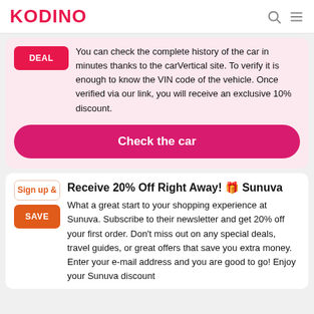KODINO
You can check the complete history of the car in minutes thanks to the carVertical site. To verify it is enough to know the VIN code of the vehicle. Once verified via our link, you will receive an exclusive 10% discount.
Check the car
Receive 20% Off Right Away! 🎁 Sunuva
What a great start to your shopping experience at Sunuva. Subscribe to their newsletter and get 20% off your first order. Don't miss out on any special deals, travel guides, or great offers that save you extra money. Enter your e-mail address and you are good to go! Enjoy your Sunuva discount